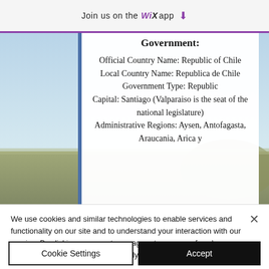Join us on the WiX app
Government:
Official Country Name: Republic of Chile
Local Country Name: Republica de Chile
Government Type: Republic
Capital: Santiago (Valparaiso is the seat of the national legislature)
Administrative Regions: Aysen, Antofagasta, Araucania, Arica y
We use cookies and similar technologies to enable services and functionality on our site and to understand your interaction with our service. By clicking on accept, you agree to our use of such technologies for marketing and analytics.